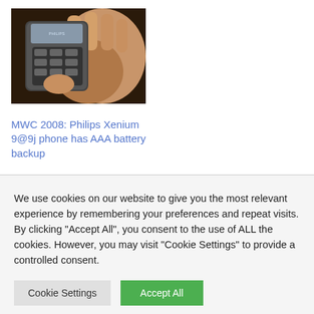[Figure (photo): A hand holding a Philips Xenium mobile phone, showing the keypad and back of the device.]
MWC 2008: Philips Xenium 9@9j phone has AAA battery backup
We use cookies on our website to give you the most relevant experience by remembering your preferences and repeat visits. By clicking "Accept All", you consent to the use of ALL the cookies. However, you may visit "Cookie Settings" to provide a controlled consent.